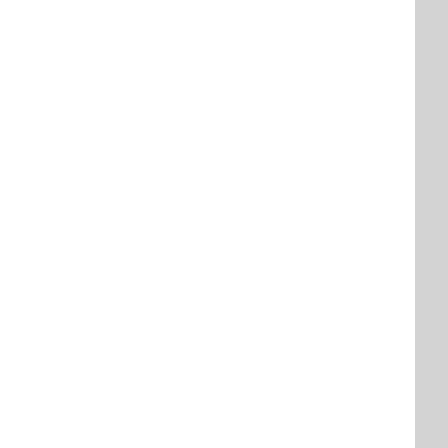was going to bust your balls for being engaged to someone who supports the duggers